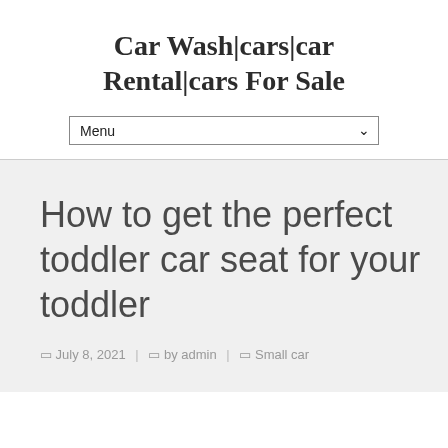Car Wash|cars|car Rental|cars For Sale
Menu
How to get the perfect toddler car seat for your toddler
July 8, 2021 | by admin | Small car